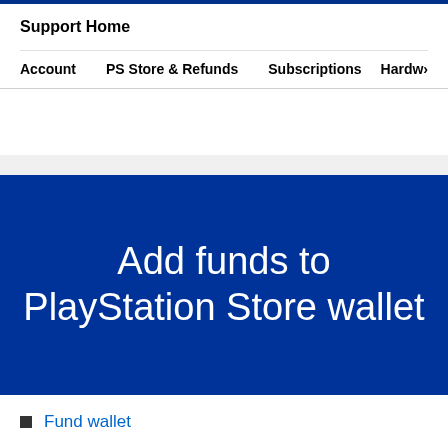Support Home
Account  PS Store & Refunds  Subscriptions  Hardw›
Add funds to PlayStation Store wallet
Fund wallet